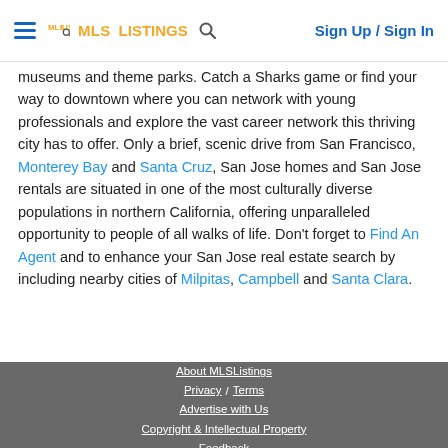MLSListings | Sign Up / Sign In
museums and theme parks. Catch a Sharks game or find your way to downtown where you can network with young professionals and explore the vast career network this thriving city has to offer. Only a brief, scenic drive from San Francisco, Monterey Bay and Santa Cruz, San Jose homes and San Jose rentals are situated in one of the most culturally diverse populations in northern California, offering unparalleled opportunity to people of all walks of life. Don't forget to Find An Agent and to enhance your San Jose real estate search by including nearby cities of Milpitas, Campbell and Santa Clara.
About MLSListings | Privacy / Terms | Advertise with Us | Copyright & Intellectual Property | Feedback